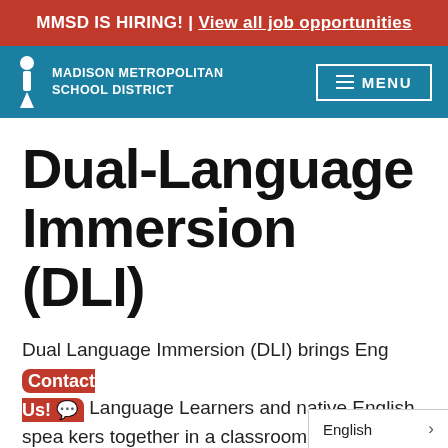MMSD IS HIRING! | View all job opportunities
[Figure (logo): Madison Metropolitan School District logo with person icon and school name in white text on teal navigation bar, with MENU button on right]
Dual-Language Immersion (DLI)
Dual Language Immersion (DLI) brings English Language Learners and native English speakers together in a classroom where they learn
Contact Us!
English